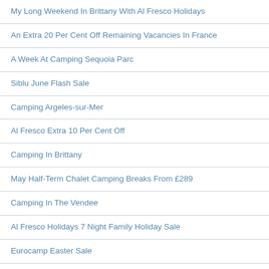My Long Weekend In Brittany With Al Fresco Holidays
An Extra 20 Per Cent Off Remaining Vacancies In France
A Week At Camping Sequoia Parc
Siblu June Flash Sale
Camping Argeles-sur-Mer
Al Fresco Extra 10 Per Cent Off
Camping In Brittany
May Half-Term Chalet Camping Breaks From £289
Camping In The Vendee
Al Fresco Holidays 7 Night Family Holiday Sale
Eurocamp Easter Sale
Camping In France
Hoseasons School Summer Holidays Offer
Canvas Holidays New Offers For 2016